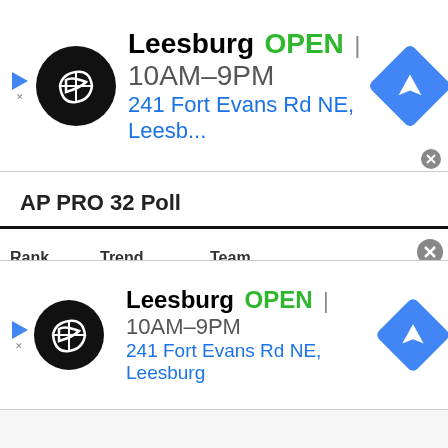[Figure (screenshot): Top ad banner: Leesburg store, OPEN 10AM-9PM, 241 Fort Evans Rd NE, Leesb... with navigation icon]
AP PRO 32 Poll
| Rank | Trend | Team |
| --- | --- | --- |
| 1 | - | Green Bay Packers |
| 2 | - | Tampa Bay Buccaneers |
| 3 | ↑1 | Kansas City Chiefs |
| 4 |  |  |
[Figure (screenshot): Bottom ad banner: Leesburg store, OPEN 10AM-9PM, 241 Fort Evans Rd NE, Leesburg with navigation icon]